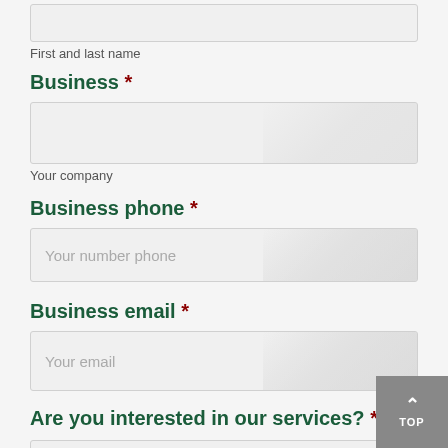First and last name
Business *
Your company
Business phone *
Your number phone
Business email *
Your email
Are you interested in our services? *